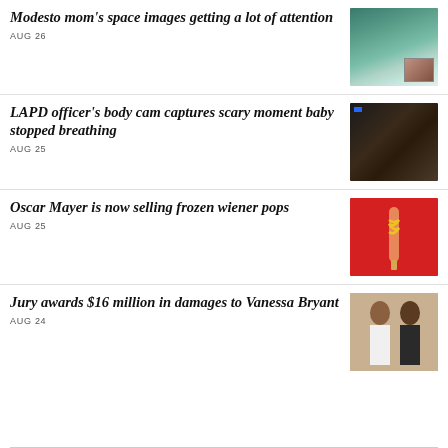Modesto mom's space images getting a lot of attention
AUG 26
[Figure (photo): Space/planet image with small inset portrait photo]
LAPD officer's body cam captures scary moment baby stopped breathing
AUG 25
[Figure (photo): Close-up body cam footage, dark image with blue indicator light]
Oscar Mayer is now selling frozen wiener pops
AUG 25
[Figure (photo): Frozen hot dog pop on red background with mustard swirl]
Jury awards $16 million in damages to Vanessa Bryant
AUG 24
[Figure (photo): Two women standing, one in white outfit]